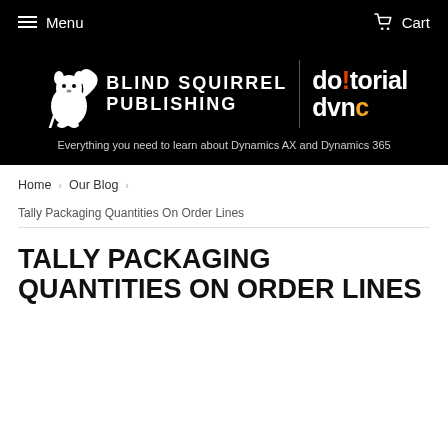Menu   Cart
[Figure (logo): Blind Squirrel Publishing and Dotorial Dvnc logos on black background with squirrel icon]
Everything you need to learn about Dynamics AX and Dynamics 365
Home > Our Blog >
Tally Packaging Quantities On Order Lines
TALLY PACKAGING QUANTITIES ON ORDER LINES